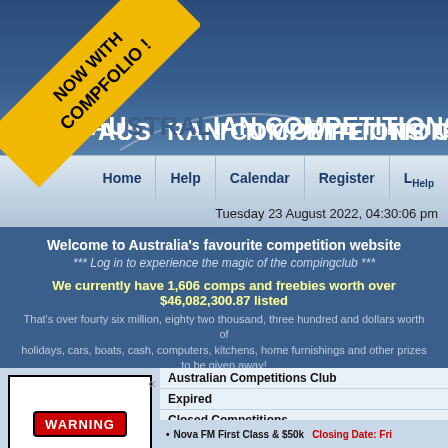AUSTRALIAN COMPETITIONS CLUB
[Figure (infographic): Diagonal yellow banner with black text reading NOW WITH COMPFOLIO! overlaid on the top-left corner of the page]
Home  Help  Calendar  Register  L Help
Tuesday 23 August 2022, 04:30:06 pm
Welcome to Australia's favourite competition website
*** Log in to experience the magic of the compingclub ***
We currently have 1,606 comps and freebies worth over $46,082,300.87 listed
That's over fourty six million, eighty two thousand, three hundred and dollars worth of holidays, cars, boats, cash, computers, kitchens, home furnishings and other prizes to be given away!
[Figure (illustration): Warning sign with black border, red oval with WARNING text, and bold text: PRIZES MAY ARRIVE WITHOUT NOTICE]
Australian Competitions Club
Expired
Closed Competitions
First Class tix to anywhere in the world & $50k - NOVA
Entry Details
Australia's
Nova FM First Class & $50k   Closing Date: Fri